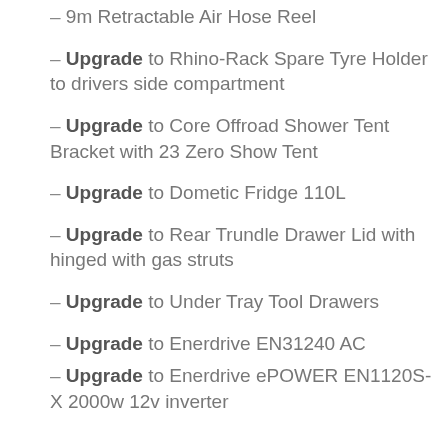- 9m Retractable Air Hose Reel
- Upgrade to Rhino-Rack Spare Tyre Holder to drivers side compartment
- Upgrade to Core Offroad Shower Tent Bracket with 23 Zero Show Tent
- Upgrade to Dometic Fridge 110L
- Upgrade to Rear Trundle Drawer Lid with hinged with gas struts
- Upgrade to Under Tray Tool Drawers
- Upgrade to Enerdrive EN31240 AC
- Upgrade to Enerdrive ePOWER EN1120S-X 2000w 12v inverter